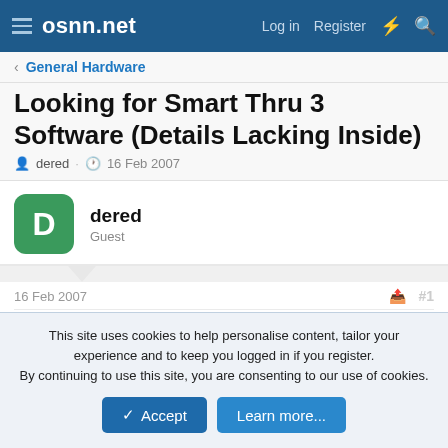osnn.net — Log in  Register
General Hardware
Looking for Smart Thru 3 Software (Details Lacking Inside)
dered · 16 Feb 2007
dered
Guest
16 Feb 2007  #1
hi,
I'm looking to download the software called smart thru3.
This site uses cookies to help personalise content, tailor your experience and to keep you logged in if you register.
By continuing to use this site, you are consenting to our use of cookies.
Accept  Learn more...